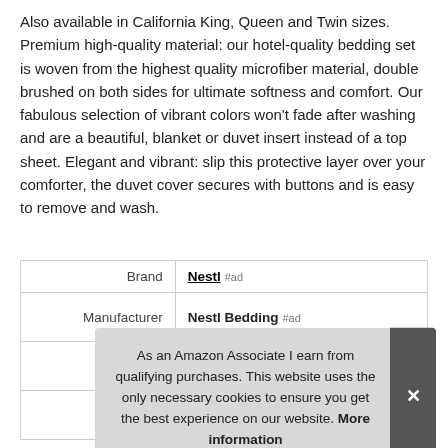Also available in California King, Queen and Twin sizes. Premium high-quality material: our hotel-quality bedding set is woven from the highest quality microfiber material, double brushed on both sides for ultimate softness and comfort. Our fabulous selection of vibrant colors won't fade after washing and are a beautiful, blanket or duvet insert instead of a top sheet. Elegant and vibrant: slip this protective layer over your comforter, the duvet cover secures with buttons and is easy to remove and wash.
|  |  |
| --- | --- |
| Brand | Nestl #ad |
| Manufacturer | Nestl Bedding #ad |
|  |  |
|  |  |
As an Amazon Associate I earn from qualifying purchases. This website uses the only necessary cookies to ensure you get the best experience on our website. More information